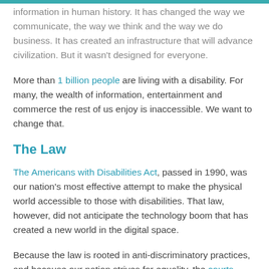...building the most innovative and sharing network of information in human history. It has changed the way we communicate, the way we think and the way we do business. It has created an infrastructure that will advance civilization. But it wasn't designed for everyone.
More than 1 billion people are living with a disability. For many, the wealth of information, entertainment and commerce the rest of us enjoy is inaccessible. We want to change that.
The Law
The Americans with Disabilities Act, passed in 1990, was our nation's most effective attempt to make the physical world accessible to those with disabilities. That law, however, did not anticipate the technology boom that has created a new world in the digital space.
Because the law is rooted in anti-discriminatory practices, and because our nation strives for equality, the courts have